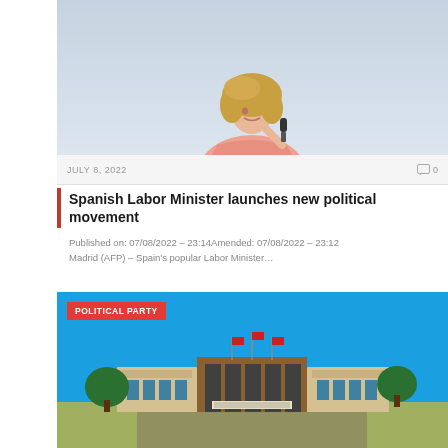[Figure (photo): Photo of a woman with blonde hair holding a microphone, speaking at an event, against a light blue-grey background]
JULY 8, 2022   0
Spanish Labor Minister launches new political movement
Published on: 07/08/2022 – 23:14 Amended: 07/08/2022 – 23:12
Madrid (AFP) – Spain's popular Labor Minister…
[Figure (photo): Photo of a government or institutional building with a blue sky background and green trees, with a red badge overlay reading POLITICAL PARTY]